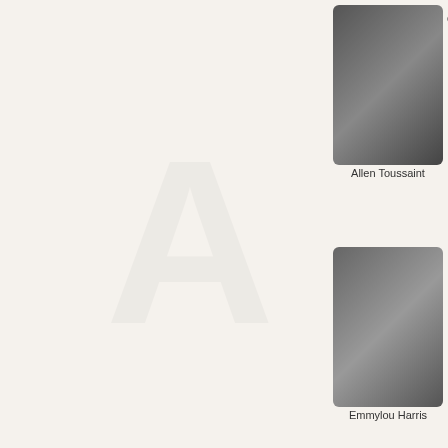david bromberg & jorma kaukonen- wilmington, de 1.21.10
wpa- arden, de 1.10.10
joy kills sorrow- arden, de 1.8.10
the spring standards- wilmington, de 12.26.09
brian setzer orchestra- wilmington, de 12.5.09
imagination movers- wilmington, de 11.18.09
keb mo- wilmington, de 11.8.09
steve kimock crazy engine- wilmington, de 11.7.09
lewis black- wilmington, de 10.23.09
rickie lee jones- wilmington, de 10.21.09
beausoleil- arden, de 10.15.09
loudon wainwright and richard thompson- wilmington, de 10.12.09
big bad voodoo daddy- wilmington, de 10.11.09
jerry douglas band- arden, de 10.9.09
Allen Toussaint
Emmylou Harris